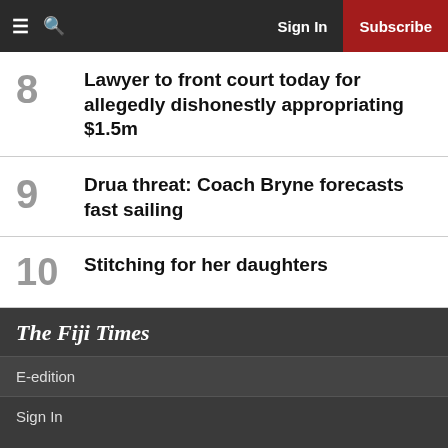Sign In | Subscribe
8 Lawyer to front court today for allegedly dishonestly appropriating $1.5m
9 Drua threat: Coach Bryne forecasts fast sailing
10 Stitching for her daughters
The Fiji Times
E-edition
Sign In
Subsc
[Figure (infographic): BitLife advertisement banner with FAIL text and cartoon character, fire flames, and 'START A NEW LIFE' tagline]